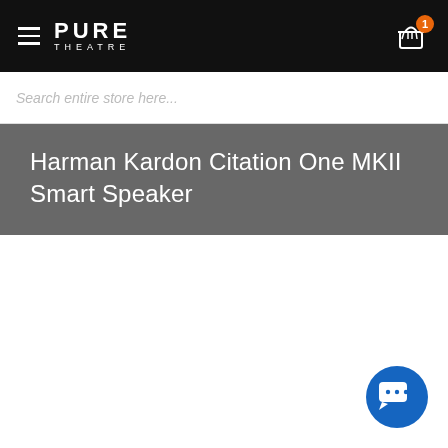PURE THEATRE — navigation header with hamburger menu and cart icon showing 1 item
Search entire store here...
Harman Kardon Citation One MKII Smart Speaker
[Figure (other): Blue circular chat/messaging button in the bottom-right corner]